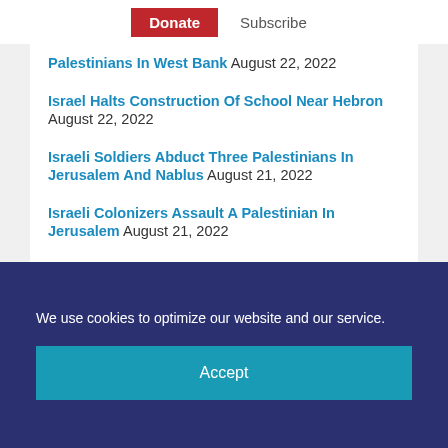Donate  Subscribe
Palestinians In West Bank August 22, 2022
Israel Halts Construction Of School Near Hebron August 22, 2022
Israeli Soldiers Abduct Three Palestinians In Jerusalem And Nablus August 21, 2022
Israeli Colonizers Assault A Palestinian In Jerusalem August 21, 2022
We use cookies to optimize our website and our service.
Accept